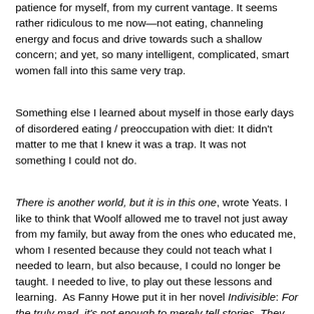patience for myself, from my current vantage. It seems rather ridiculous to me now—not eating, channeling energy and focus and drive towards such a shallow concern; and yet, so many intelligent, complicated, smart women fall into this same very trap.
Something else I learned about myself in those early days of disordered eating / preoccupation with diet: It didn't matter to me that I knew it was a trap. It was not something I could not do.
There is another world, but it is in this one, wrote Yeats. I like to think that Woolf allowed me to travel not just away from my family, but away from the ones who educated me, whom I resented because they could not teach what I needed to learn, but also because, I could no longer be taught. I needed to live, to play out these lessons and learning.  As Fanny Howe put it in her novel Indivisible: For the truly mad, it's not enough to merely tell stories. They have to act them out.